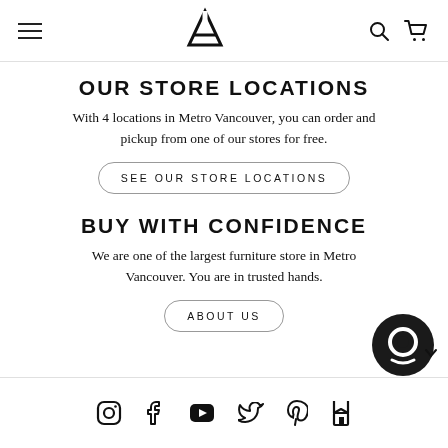Navigation bar with hamburger menu, logo, search and cart icons
OUR STORE LOCATIONS
With 4 locations in Metro Vancouver, you can order and pickup from one of our stores for free.
SEE OUR STORE LOCATIONS
BUY WITH CONFIDENCE
We are one of the largest furniture store in Metro Vancouver. You are in trusted hands.
ABOUT US
Social media icons: Instagram, Facebook, YouTube, Twitter, Pinterest, Houzz